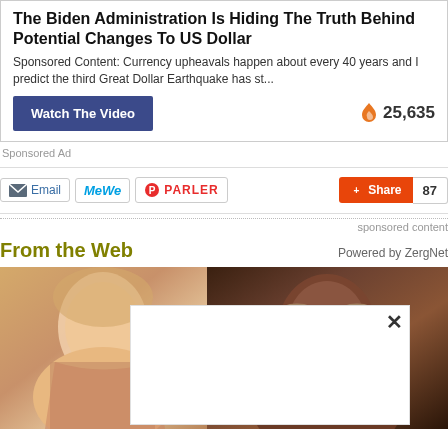The Biden Administration Is Hiding The Truth Behind Potential Changes To US Dollar
Sponsored Content: Currency upheavals happen about every 40 years and I predict the third Great Dollar Earthquake has st...
[Figure (other): Watch The Video button and fire icon with count 25,635]
Sponsored Ad
[Figure (other): Social share bar with Email, MeWe, Parler buttons and Share button with count 87]
sponsored content
From the Web
Powered by ZergNet
[Figure (photo): Photo of blonde woman on left side]
[Figure (photo): Photo of dark-skinned woman with glasses on right side]
[Figure (other): White popup overlay with X close button]